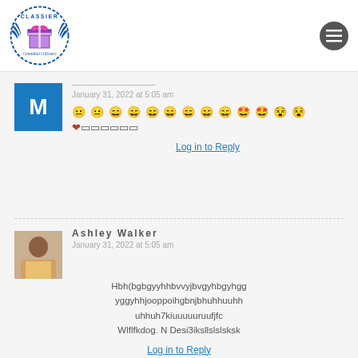[Figure (logo): Classier Canadian Giftware logo with wings and gift box]
M
January 31, 2022 at 5:05 am
😐 😐 😂 😂 😂 😂 😂 😂 😂 🤩 🤩 🤩 🤩
❤️ 𝒻𝓁𝑜𝓇𝒶𝓁
Log in to Reply
Ashley Walker
January 31, 2022 at 5:05 am
Hbh(bgbgyyhhbvvyjbvgyhbgyhgg yggyhhjooppoihgbnjbhuhhuuhh uhhuh7kiuuuuuruufjfc Wlflfkdog. N Desi3iksllslslsksk
Log in to Reply